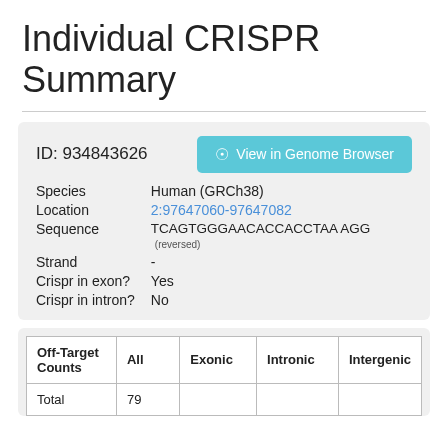Individual CRISPR Summary
ID: 934843626
View in Genome Browser
Species: Human (GRCh38)
Location: 2:97647060-97647082
Sequence: TCAGTGGGAACACCACCTAA AGG (reversed)
Strand: -
Crispr in exon? Yes
Crispr in intron? No
| Off-Target Counts | All | Exonic | Intronic | Intergenic |
| --- | --- | --- | --- | --- |
| Total | 79 |  |  |  |